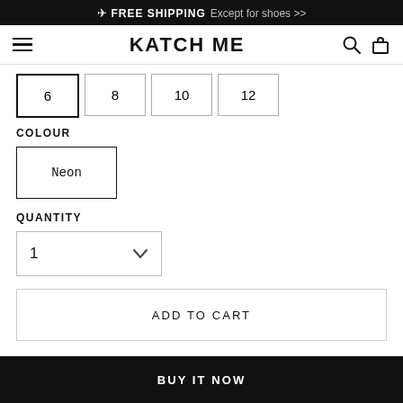✈ FREE SHIPPING  Except for shoes >>
KATCH ME
6  8  10  12
COLOUR
Neon
QUANTITY
1
ADD TO CART
BUY IT NOW